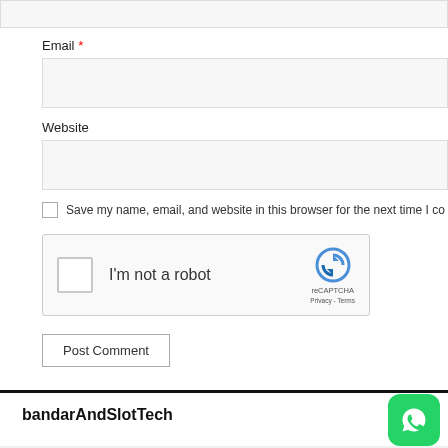Email *
Website
Save my name, email, and website in this browser for the next time I co
[Figure (other): reCAPTCHA widget with checkbox labeled 'I'm not a robot' and reCAPTCHA logo with Privacy and Terms links]
Post Comment
bandarAndSlotTech
[Figure (logo): WhatsApp logo icon in green rounded square button]